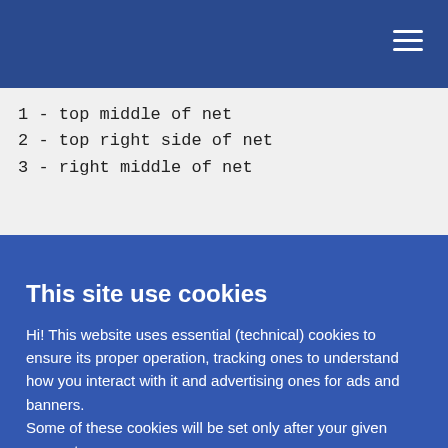1 - top middle of net
2 - top right side of net
3 - right middle of net
This site use cookies
Hi! This website uses essential (technical) cookies to ensure its proper operation, tracking ones to understand how you interact with it and advertising ones for ads and banners.
Some of these cookies will be set only after your given consent.
Please read the privacy policy and the cookie policy. You can of course accept only strictly necessary.
Settings: let me choose
Accept all